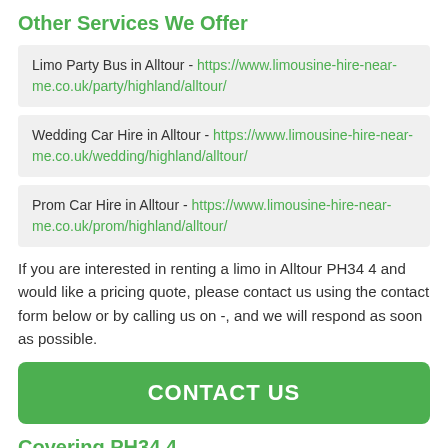Other Services We Offer
Limo Party Bus in Alltour - https://www.limousine-hire-near-me.co.uk/party/highland/alltour/
Wedding Car Hire in Alltour - https://www.limousine-hire-near-me.co.uk/wedding/highland/alltour/
Prom Car Hire in Alltour - https://www.limousine-hire-near-me.co.uk/prom/highland/alltour/
If you are interested in renting a limo in Alltour PH34 4 and would like a pricing quote, please contact us using the contact form below or by calling us on -, and we will respond as soon as possible.
CONTACT US
Covering PH34 4